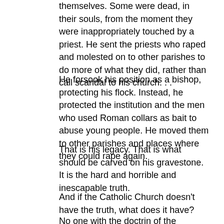themselves. Some were dead, in their souls, from the moment they were inappropriately touched by a priest. He sent the priests who raped and molested on to other parishes to do more of what they did, rather than call scandal to his church. . . .
He forsook his position as a bishop, protecting his flock. Instead, he protected the institution and the men who used Roman collars as bait to abuse young people. He moved them to other parishes and places where they could rape again.
That is his legacy. That is what should be carved on his gravestone. It is the hard and horrible and inescapable truth.
And if the Catholic Church doesn't have the truth, what does it have?
No one with the doctrin of the Catholic Church to f i